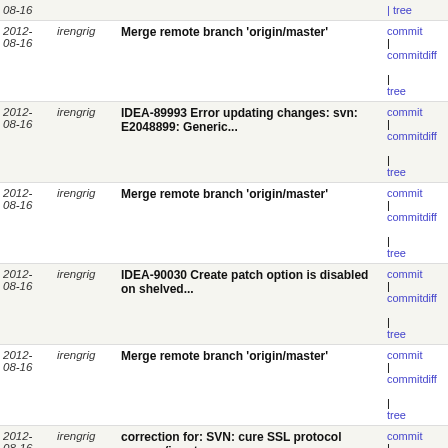| Date | Author | Message | Links |
| --- | --- | --- | --- |
| 2012-08-16 | irengrig | Merge remote branch 'origin/master' | commit | commitdiff | tree |
| 2012-08-16 | irengrig | IDEA-89993 Error updating changes: svn: E2048899: Generic... | commit | commitdiff | tree |
| 2012-08-16 | irengrig | Merge remote branch 'origin/master' | commit | commitdiff | tree |
| 2012-08-16 | irengrig | IDEA-90030 Create patch option is disabled on shelved... | commit | commitdiff | tree |
| 2012-08-16 | irengrig | Merge remote branch 'origin/master' | commit | commitdiff | tree |
| 2012-08-16 | irengrig | correction for: SVN: cure SSL protocol access (input... | commit | commitdiff | tree |
| 2012-08-16 | irengrig | Merge remote branch 'origin/master' | commit | commitdiff | tree |
| 2012-08-16 | irengrig | SVN: tests, do not refresh virtual file under read... | commit | commitdiff | tree |
| 2012-08-16 | irengrig | SVN: NPE in tests | commit | commitdiff | tree |
| 2012-08-16 | irengrig | Merge remote branch 'origin/master' | commit | commitdiff | tree |
| 2012-08-16 | irengrig | SVN: cure SSL protocol access (input stream shouldn... | commit | commitdiff | tree |
| 2012-08-15 | irengrig | Merge remote branch 'origin/master' | commit | commitdiff | tree |
| 2012-08-15 | irengrig | for "OC-4979 Hang during indexing" and "OC-4980 Subversion... | commit | commitdiff | tree |